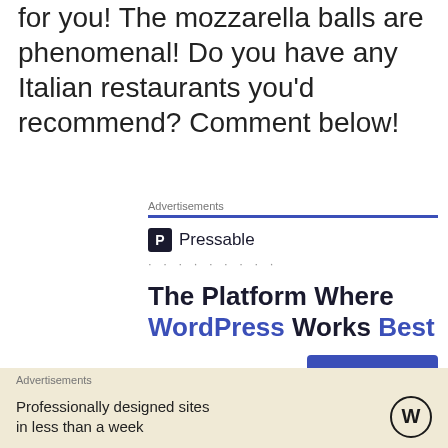for you! The mozzarella balls are phenomenal! Do you have any Italian restaurants you'd recommend? Comment below!
[Figure (screenshot): Pressable advertisement: 'The Platform Where WordPress Works Best' with SEE PRICING button]
[Figure (screenshot): Bottom advertisement bar: 'Professionally designed sites in less than a week' with WordPress logo, on beige background]